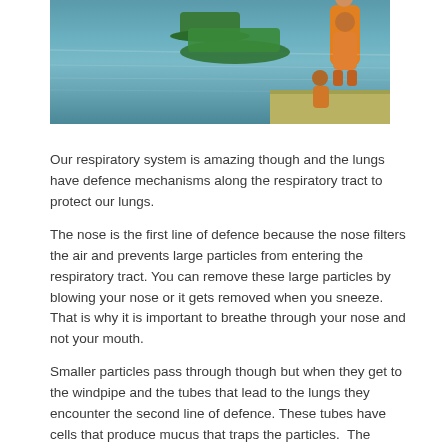[Figure (photo): Photo of people on a dock/waterway with a green boat on water, workers in orange/yellow vests]
Our respiratory system is amazing though and the lungs have defence mechanisms along the respiratory tract to protect our lungs.
The nose is the first line of defence because the nose filters the air and prevents large particles from entering the respiratory tract. You can remove these large particles by blowing your nose or it gets removed when you sneeze.  That is why it is important to breathe through your nose and not your mouth.
Smaller particles pass through though but when they get to the windpipe and the tubes that lead to the lungs they encounter the second line of defence. These tubes have cells that produce mucus that traps the particles.  The